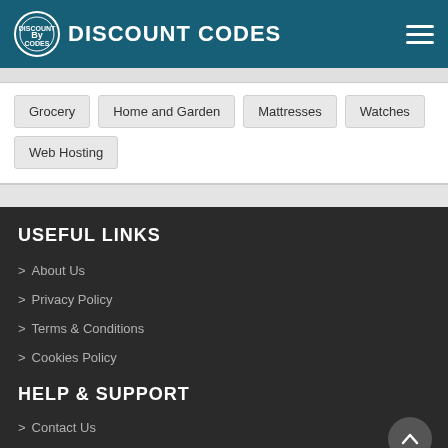DISCOUNT CODES
Grocery
Home and Garden
Mattresses
Watches
Web Hosting
USEFUL LINKS
> About Us
> Privacy Policy
> Terms & Conditions
> Cookies Policy
HELP & SUPPORT
> Contact Us
> care(at)bydiscountcodes.co.uk